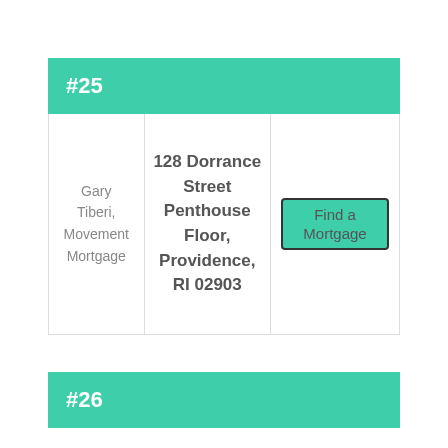| #25 | Name | Address | Action |
| --- | --- | --- | --- |
|  | Gary Tiberi, Movement Mortgage | 128 Dorrance Street Penthouse Floor, Providence, RI 02903 | Find a Mortgage |
#26